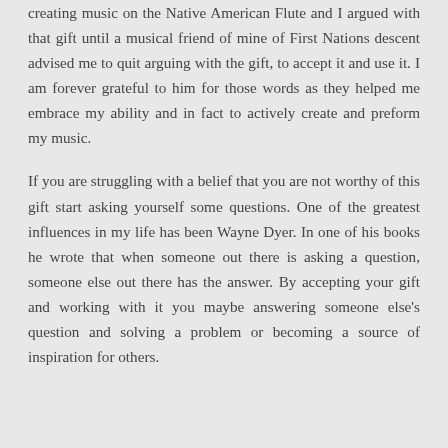creating music on the Native American Flute and I argued with that gift until a musical friend of mine of First Nations descent advised me to quit arguing with the gift, to accept it and use it. I am forever grateful to him for those words as they helped me embrace my ability and in fact to actively create and preform my music.
If you are struggling with a belief that you are not worthy of this gift start asking yourself some questions. One of the greatest influences in my life has been Wayne Dyer. In one of his books he wrote that when someone out there is asking a question, someone else out there has the answer. By accepting your gift and working with it you maybe answering someone else's question and solving a problem or becoming a source of inspiration for others.